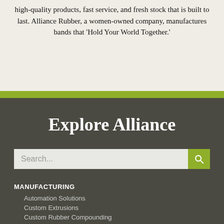high-quality products, fast service, and fresh stock that is built to last. Alliance Rubber, a women-owned company, manufactures bands that 'Hold Your World Together.'
Explore Alliance
Search...
MANUFACTURING
Automation Solutions
Custom Extrusions
Custom Rubber Compounding
Die Cutting Services